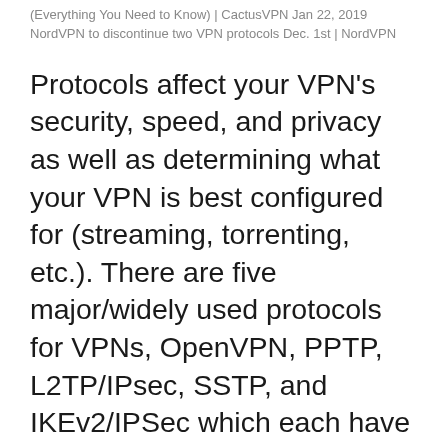(Everything You Need to Know) | CactusVPN Jan 22, 2019 NordVPN to discontinue two VPN protocols Dec. 1st | NordVPN
Protocols affect your VPN's security, speed, and privacy as well as determining what your VPN is best configured for (streaming, torrenting, etc.). There are five major/widely used protocols for VPNs, OpenVPN, PPTP, L2TP/IPsec, SSTP, and IKEv2/IPSec which each have their own pros and cons.
PPTP | SaferVPN Point-to-Point Tunnel Protocol (PPTP) is the